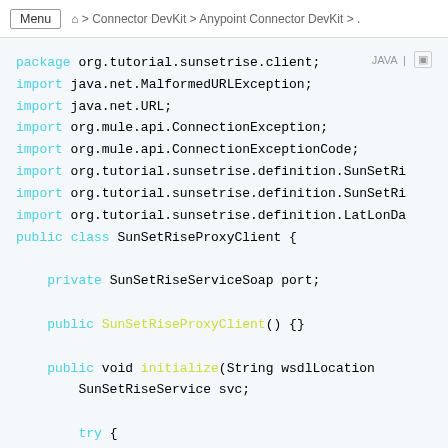Menu  > Connector DevKit > Anypoint Connector DevKit > ...
package org.tutorial.sunsetrise.client;
import java.net.MalformedURLException;
import java.net.URL;
import org.mule.api.ConnectionException;
import org.mule.api.ConnectionExceptionCode;
import org.tutorial.sunsetrise.definition.SunSetRi
import org.tutorial.sunsetrise.definition.SunSetRi
import org.tutorial.sunsetrise.definition.LatLonDa
public class SunSetRiseProxyClient {

    private SunSetRiseServiceSoap port;

    public SunSetRiseProxyClient() {}

    public void initialize(String wsdlLocation
        SunSetRiseService svc;

        try {